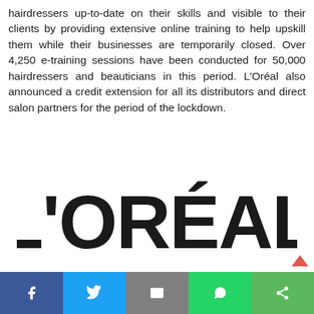hairdressers up-to-date on their skills and visible to their clients by providing extensive online training to help upskill them while their businesses are temporarily closed. Over 4,250 e-training sessions have been conducted for 50,000 hairdressers and beauticians in this period. L'Oréal also announced a credit extension for all its distributors and direct salon partners for the period of the lockdown.
[Figure (logo): L'Oréal India logo — large bold black text reading L'ORÉAL on top and INDIA below in wide-spaced capitals]
Social share bar: Facebook, Twitter, Email, WhatsApp, Share